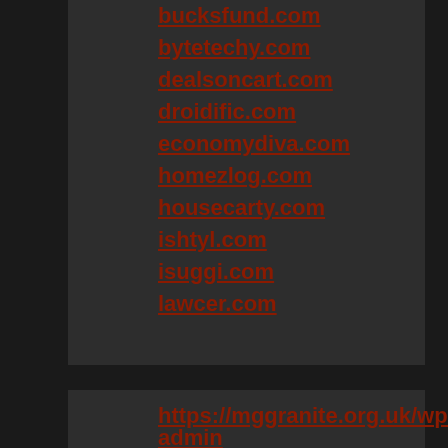bucksfund.com
bytetechy.com
dealsoncart.com
droidific.com
economydiva.com
homezlog.com
housecarty.com
ishtyl.com
isuggi.com
lawcer.com
https://mggranite.org.uk/wp-admin
https://KinEton.org.uk/wp-admin